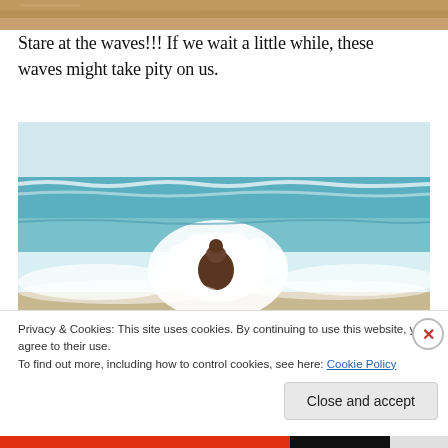[Figure (photo): Partial top strip of a beach/sandy scene at the very top of the page]
Stare at the waves!!! If we wait a little while, these waves might take pity on us.
[Figure (photo): A dog running in ocean surf on a sandy beach, waves crashing around it with white foam and green-blue water in the background]
Privacy & Cookies: This site uses cookies. By continuing to use this website, you agree to their use.
To find out more, including how to control cookies, see here: Cookie Policy